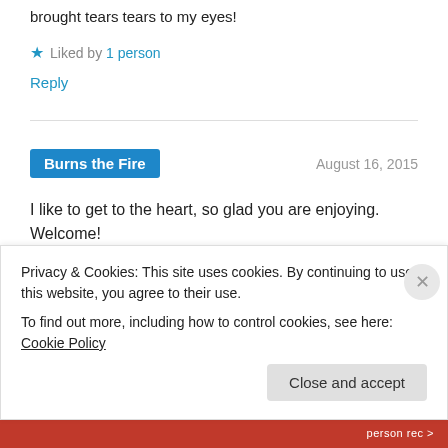brought tears tears to my eyes!
Liked by 1 person
Reply
Burns the Fire  August 16, 2015
I like to get to the heart, so glad you are enjoying. Welcome!
Liked by 2 people
Reply
Privacy & Cookies: This site uses cookies. By continuing to use this website, you agree to their use.
To find out more, including how to control cookies, see here: Cookie Policy
Close and accept